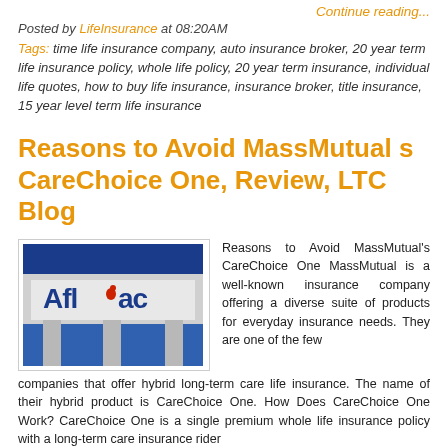Continue reading...
Posted by LifeInsurance at 08:20AM
Tags: time life insurance company, auto insurance broker, 20 year term life insurance policy, whole life policy, 20 year term insurance, individual life quotes, how to buy life insurance, insurance broker, title insurance, 15 year level term life insurance
Reasons to Avoid MassMutual s CareChoice One, Review, LTC Blog
[Figure (photo): Photo of an Aflac building sign against a blue and grey facade]
Reasons to Avoid MassMutual's CareChoice One MassMutual is a well-known insurance company offering a diverse suite of products for everyday insurance needs. They are one of the few companies that offer hybrid long-term care life insurance. The name of their hybrid product is CareChoice One. How Does CareChoice One Work? CareChoice One is a single premium whole life insurance policy with a long-term care insurance rider